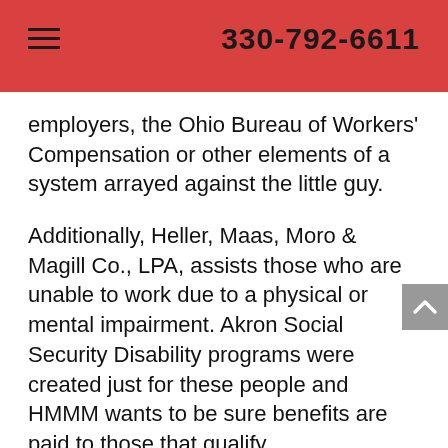330-792-6611
employers, the Ohio Bureau of Workers' Compensation or other elements of a system arrayed against the little guy.
Additionally, Heller, Maas, Moro & Magill Co., LPA, assists those who are unable to work due to a physical or mental impairment. Akron Social Security Disability programs were created just for these people and HMMM wants to be sure benefits are paid to those that qualify.
Our attorneys have a combined 150 years of experience practicing law and our firm has provided trusted legal advice across